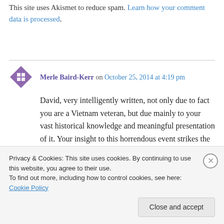Notify me of new posts via email.
This site uses Akismet to reduce spam. Learn how your comment data is processed.
Merle Baird-Kerr on October 25, 2014 at 4:19 pm
David, very intelligently written, not only due to fact you are a Vietnam veteran, but due mainly to your vast historical knowledge and meaningful presentation of it. Your insight to this horrendous event strikes the warm heart strings of each and
Privacy & Cookies: This site uses cookies. By continuing to use this website, you agree to their use. To find out more, including how to control cookies, see here: Cookie Policy
Close and accept